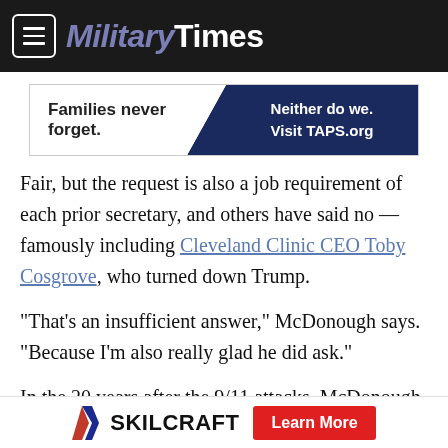MilitaryTimes
[Figure (other): Advertisement banner: 'Families never forget. Neither do we. Visit TAPS.org' with dark navy right side]
Fair, but the request is also a job requirement of each prior secretary, and others have said no — famously including Cleveland Clinic CEO Toby Cosgrove, who turned down Trump.
“That’s an insufficient answer,” McDonough says. “Because I’m also really glad he did ask.”
In the 20 years after the 9/11 attacks, McDonough worked behind the scenes making sure other people’s decisions were enacted — and that included sending young men and women to
SKILCRAFT   Learn More